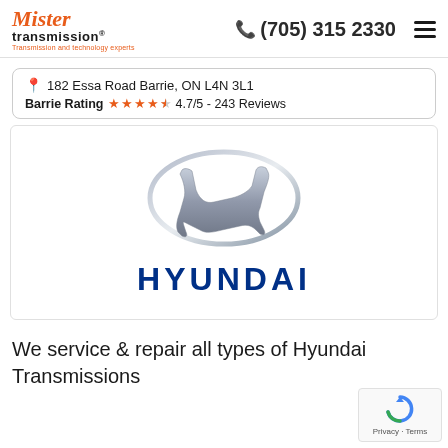Mister transmission® Transmission and technology experts | (705) 315 2330
182 Essa Road Barrie, ON L4N 3L1
Barrie Rating ★★★★☆ 4.7/5 - 243 Reviews
[Figure (logo): Hyundai logo: silver H emblem oval above blue HYUNDAI text]
We service & repair all types of Hyundai Transmissions